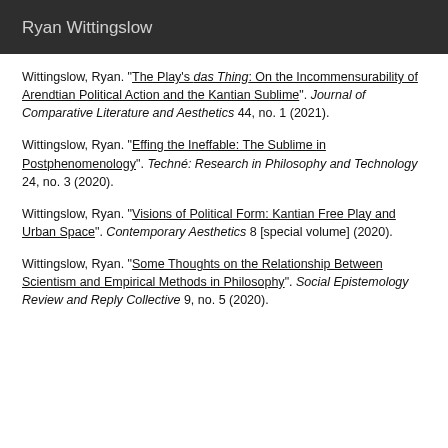Ryan Wittingslow
Wittingslow, Ryan. "The Play's das Thing: On the Incommensurability of Arendtian Political Action and the Kantian Sublime". Journal of Comparative Literature and Aesthetics 44, no. 1 (2021).
Wittingslow, Ryan. "Effing the Ineffable: The Sublime in Postphenomenology". Techné: Research in Philosophy and Technology 24, no. 3 (2020).
Wittingslow, Ryan. "Visions of Political Form: Kantian Free Play and Urban Space". Contemporary Aesthetics 8 [special volume] (2020).
Wittingslow, Ryan. "Some Thoughts on the Relationship Between Scientism and Empirical Methods in Philosophy". Social Epistemology Review and Reply Collective 9, no. 5 (2020).